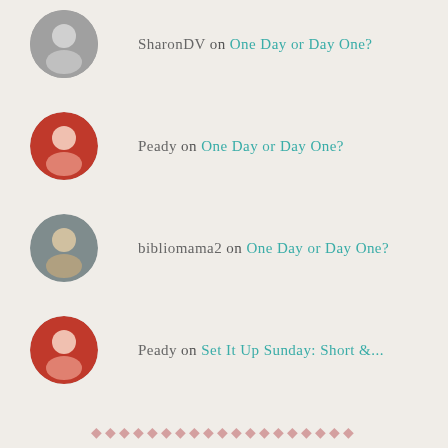SharonDV on One Day or Day One?
Peady on One Day or Day One?
bibliomama2 on One Day or Day One?
Peady on Set It Up Sunday: Short &...
❖❖❖❖❖◆❖❖◆❖❖◆❖❖◆❖❖◆❖
What a wonderful month!
August 2022